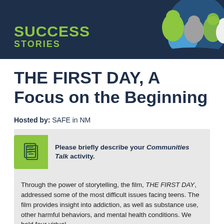[Figure (illustration): Banner with dark navy background showing 'SUCCESS STORIES' text in lime green and a globe/people illustration on the right side]
THE FIRST DAY, A Focus on the Beginning
Hosted by: SAFE in NM
Please briefly describe your Communities Talk activity.
Through the power of storytelling, the film, THE FIRST DAY, addressed some of the most difficult issues facing teens. The film provides insight into addiction, as well as substance use, other harmful behaviors, and mental health conditions. We held four virtual